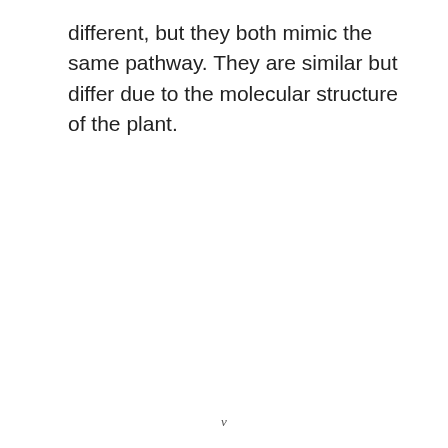different, but they both mimic the same pathway. They are similar but differ due to the molecular structure of the plant.
v